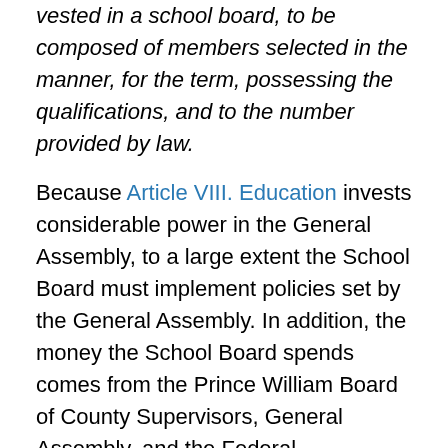vested in a school board, to be composed of members selected in the manner, for the term, possessing the qualifications, and to the number provided by law.
Because Article VIII. Education invests considerable power in the General Assembly, to a large extent the School Board must implement policies set by the General Assembly. In addition, the money the School Board spends comes from the Prince William Board of County Supervisors, General Assembly, and the Federal Government, and those funds come with lots of strings attached. That means the Federal Government, the state government, and the county government also exercise authority over our schools. That means that the School Board is effectively only one of the four different committees that run our public education system.
Because...